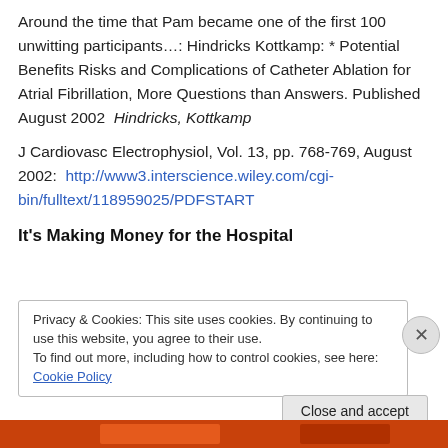Around the time that Pam became one of the first 100 unwitting participants…: Hindricks Kottkamp: * Potential Benefits Risks and Complications of Catheter Ablation for Atrial Fibrillation, More Questions than Answers. Published August 2002  Hindricks, Kottkamp
J Cardiovasc Electrophysiol, Vol. 13, pp. 768-769, August 2002:  http://www3.interscience.wiley.com/cgi-bin/fulltext/118959025/PDFSTART
It's Making Money for the Hospital
Privacy & Cookies: This site uses cookies. By continuing to use this website, you agree to their use.
To find out more, including how to control cookies, see here: Cookie Policy